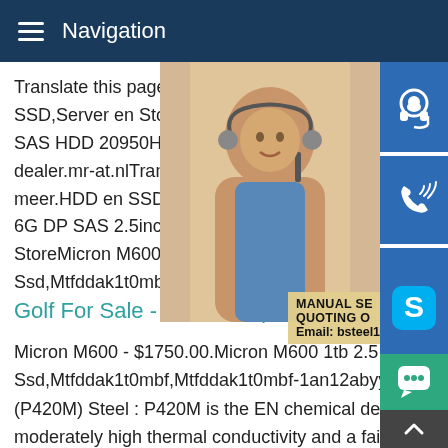Navigation
Translate this pageBezoek het bericht voo SSD,Server en Storage HP 653971-001 9 SAS HDD 20950HP 581311-001 600GB 1 dealer.mr-at.nlTranslate this pageBezoek h meer.HDD en SSD,Server en Storage HP 6G DP SAS 2.5inch 33453Golf For Sale - StoreMicron M600 - $1750.00.Micron M60 Ssd,Mtfddak1t0mbf,Mtfddak1t0mbf-1an12
Golf For Sale - Rare Antique
Micron M600 - $1750.00.Micron M600 1tb 2.5 Ssd,Mtfddak1t0mbf,Mtfddak1t0mbf-1an12abyy Lot Of 20EN 1.8824 (P420M) Steel : P420M is the EN chemical designation.It has moderately high thermal conductivity and a fairly low tensile strength among EN wrought alloy steels.The graph bars on the material properties cards below compare EN 1.8824 steel to E